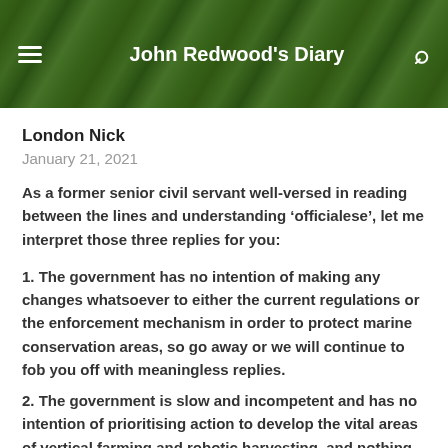John Redwood's Diary
London Nick
January 21, 2021
As a former senior civil servant well-versed in reading between the lines and understanding 'officialese', let me interpret those three replies for you:
1. The government has no intention of making any changes whatsoever to either the current regulations or the enforcement mechanism in order to protect marine conservation areas, so go away or we will continue to fob you off with meaningless replies.
2. The government is slow and incompetent and has no intention of prioritising action to develop the vital areas of vertical farming and robotic harvesting, and nothing will